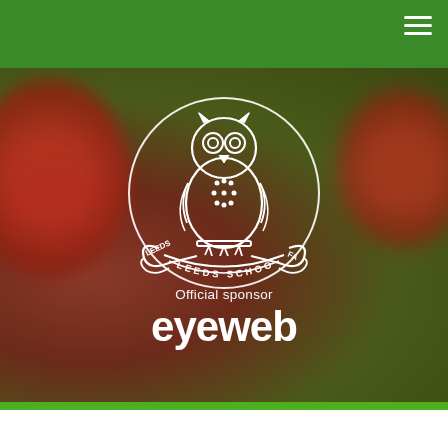Leeds Schools FA website header with navigation menu
[Figure (logo): Leeds Schools FA crest logo — white outline of an owl perched on a banner reading 'LEEDS SCHOOLS FA', circular badge design on dark blurred background]
Official sponsor
eyeweb